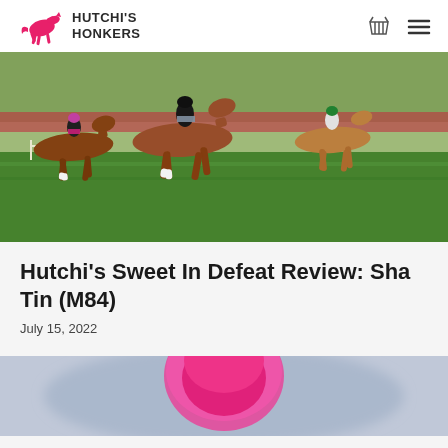HUTCHI'S HONKERS
[Figure (photo): Horse racing photo showing multiple jockeys on horses racing on a grass track, taken during a race at what appears to be Sha Tin racecourse.]
Hutchi's Sweet In Defeat Review: Sha Tin (M84)
July 15, 2022
[Figure (photo): Partial photo showing a pink jockey helmet/cap from close up, blurred background.]